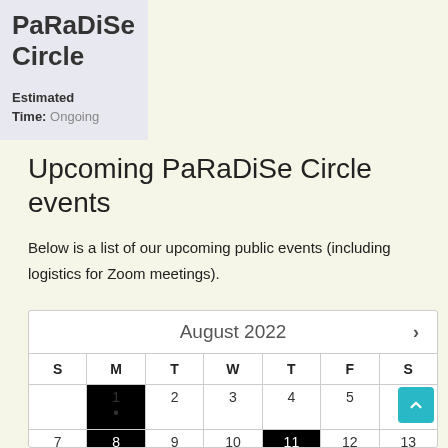PaRaDiSe Circle
Estimated Time: Ongoing
Upcoming PaRaDiSe Circle events
Below is a list of our upcoming public events (including logistics for Zoom meetings).
| S | M | T | W | T | F | S |
| --- | --- | --- | --- | --- | --- | --- |
|  | 1 | 2 | 3 | 4 | 5 | 6 |
| 7 | 8 | 9 | 10 | 11 | 12 | 13 |